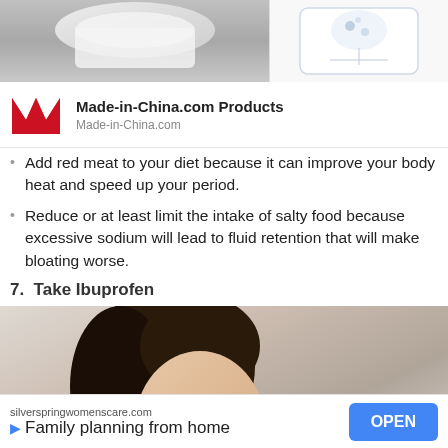[Figure (photo): Two images side by side at top: left shows a white cloth/fabric on grey background, right shows a packaged product with floral design on white background]
[Figure (logo): Made-in-China.com red M logo with product advertisement banner]
Add red meat to your diet because it can improve your body heat and speed up your period.
Reduce or at least limit the intake of salty food because excessive sodium will lead to fluid retention that will make bloating worse.
7.  Take Ibuprofen
[Figure (photo): Woman with curly dark hair holding a glass of water and pills in her palm, white background]
[Figure (other): Bottom advertisement: silverspringwomenscare.com - Family planning from home - OPEN button]